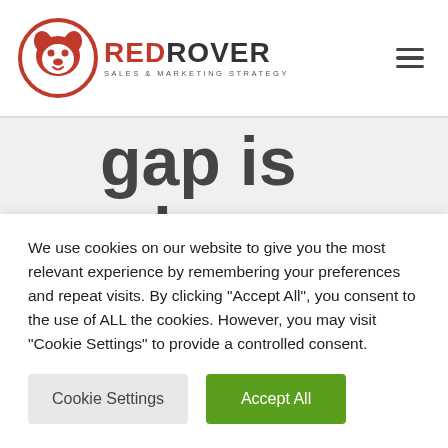RedRover Sales & Marketing Strategy — navigation header with logo and hamburger menu
gap is who holds leadership roles and gets
We use cookies on our website to give you the most relevant experience by remembering your preferences and repeat visits. By clicking "Accept All", you consent to the use of ALL the cookies. However, you may visit "Cookie Settings" to provide a controlled consent.